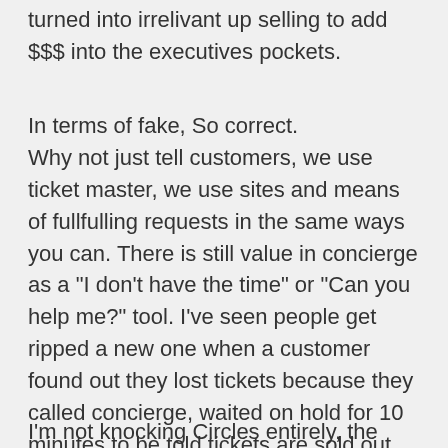turned into irrelivant up selling to add $$$ into the executives pockets.
In terms of fake, So correct. Why not just tell customers, we use ticket master, we use sites and means of fullfulling requests in the same ways you can. There is still value in concierge as a "I don't have the time" or "Can you help me?" tool. I've seen people get ripped a new one when a customer found out they lost tickets because they called concierge, waited on hold for 10 minutes to be told tickets are sold out when the 10 to 15 minutes they spent calling, they could have logged on to ticketmaster themselves or called the resturant themselves.
I'm not knocking Circles entirely, the service is